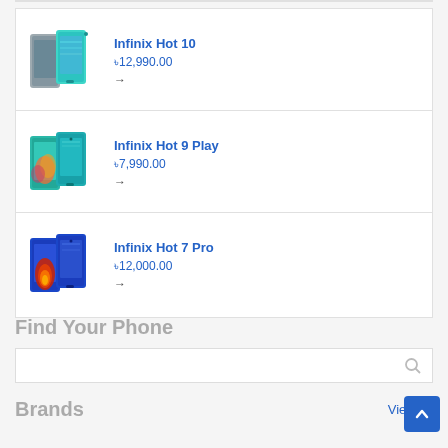[Figure (photo): Infinix Hot 10 smartphone product image showing front and back views]
Infinix Hot 10
৳12,990.00
→
[Figure (photo): Infinix Hot 9 Play smartphone product image showing front and back views]
Infinix Hot 9 Play
৳7,990.00
→
[Figure (photo): Infinix Hot 7 Pro smartphone product image showing front and back views]
Infinix Hot 7 Pro
৳12,000.00
→
Find Your Phone
Brands
View All